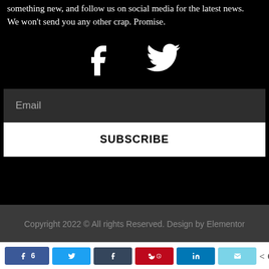something new, and follow us on social media for the latest news.
We won't send you any other crap. Promise.
[Figure (other): Facebook and Twitter social media icons in white on black background]
Email
SUBSCRIBE
Copyright 2022 © All rights Reserved. Design by Elementor
6 SHARES - share buttons: Facebook (6), Twitter, Tumblr, Pinterest, LinkedIn, Email